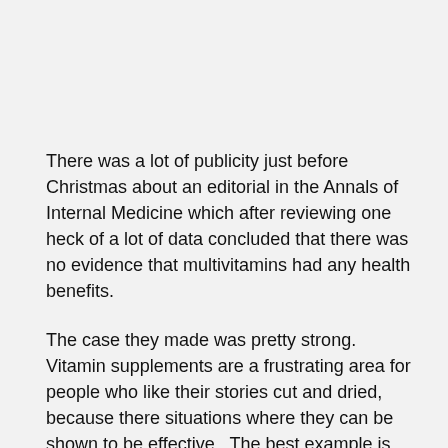There was a lot of publicity just before Christmas about an editorial in the Annals of Internal Medicine which after reviewing one heck of a lot of data concluded that there was no evidence that multivitamins had any health benefits.
The case they made was pretty strong.  Vitamin supplements are a frustrating area for people who like their stories cut and dried, because there situations where they can be shown to be effective.  The best example is the well known one of the Royal Navy's embracing of vitamin C supplementation to overcome scurvy.  But if